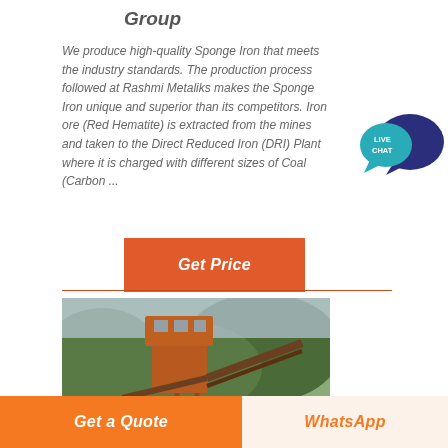Group
We produce high-quality Sponge Iron that meets the industry standards. The production process followed at Rashmi Metaliks makes the Sponge Iron unique and superior than its competitors. Iron ore (Red Hematite) is extracted from the mines and taken to the Direct Reduced Iron (DRI) Plant where it is charged with different sizes of Coal (Carbon ...
[Figure (illustration): Live Chat speech bubble icon in teal/dark blue]
Get Price
[Figure (photo): Industrial mining facility with an orange tower structure and conveyor equipment against a green hillside]
Get a Quote
WhatsApp